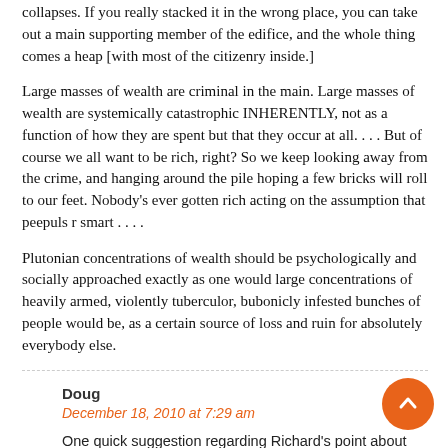collapses. If you really stacked it in the wrong place, you can take out a main supporting member of the edifice, and the whole thing comes a heap [with most of the citizenry inside.]
Large masses of wealth are criminal in the main. Large masses of wealth are systemically catastrophic INHERENTLY, not as a function of how they are spent but that they occur at all. . . . But of course we all want to be rich, right? So we keep looking away from the crime, and hanging around the pile hoping a few bricks will roll to our feet. Nobody's ever gotten rich acting on the assumption that peepuls r smart . . . .
Plutonian concentrations of wealth should be psychologically and socially approached exactly as one would large concentrations of heavily armed, violently tuberculor, bubonicly infested bunches of people would be, as a certain source of loss and ruin for absolutely everybody else.
Doug
December 18, 2010 at 7:29 am
One quick suggestion regarding Richard's point about correlation: mutual funds. Even the not-so-rich contribute to the correlation problems described.